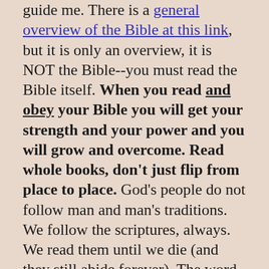guide me. There is a general overview of the Bible at this link, but it is only an overview, it is NOT the Bible--you must read the Bible itself. When you read and obey your Bible you will get your strength and your power and you will grow and overcome. Read whole books, don't just flip from place to place. God's people do not follow man and man's traditions. We follow the scriptures, always. We read them until we die (and they still abide forever). The word of God, the holy Bible, is our bread--you need to eat and